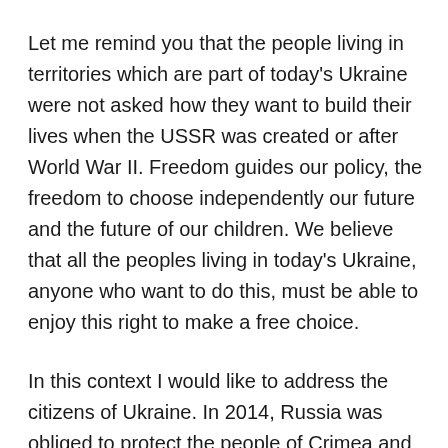Let me remind you that the people living in territories which are part of today's Ukraine were not asked how they want to build their lives when the USSR was created or after World War II. Freedom guides our policy, the freedom to choose independently our future and the future of our children. We believe that all the peoples living in today's Ukraine, anyone who want to do this, must be able to enjoy this right to make a free choice.
In this context I would like to address the citizens of Ukraine. In 2014, Russia was obliged to protect the people of Crimea and Sevastopol from those who you yourself call “nats.” The people of Crimea and Sevastopol made their choice in favour of being with their historical homeland, Russia, and we